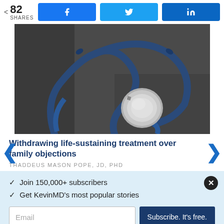82 SHARES | Facebook | Twitter | LinkedIn
[Figure (photo): Close-up photograph of a blue stethoscope on a dark gray surface]
Withdrawing life-sustaining treatment over family objections
THADDEUS MASON POPE, JD, PHD
✓ Join 150,000+ subscribers
✓ Get KevinMD's most popular stories
Email | Subscribe. It's free.